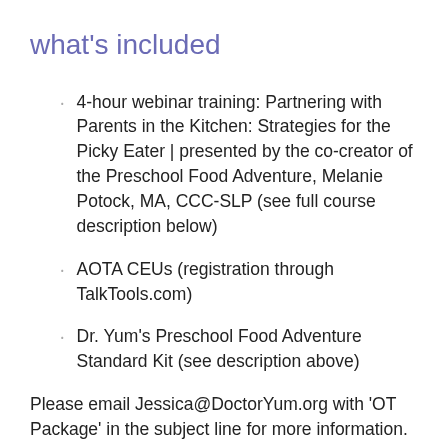what's included
4-hour webinar training: Partnering with Parents in the Kitchen: Strategies for the Picky Eater | presented by the co-creator of the Preschool Food Adventure, Melanie Potock, MA, CCC-SLP (see full course description below)
AOTA CEUs (registration through TalkTools.com)
Dr. Yum's Preschool Food Adventure Standard Kit (see description above)
Please email Jessica@DoctorYum.org with 'OT Package' in the subject line for more information.